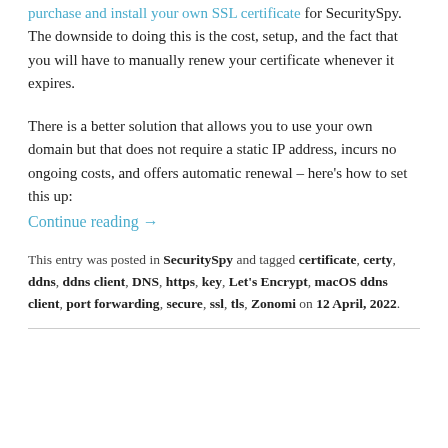your domain, and then purchase and install your own SSL certificate for SecuritySpy. The downside to doing this is the cost, setup, and the fact that you will have to manually renew your certificate whenever it expires.
There is a better solution that allows you to use your own domain but that does not require a static IP address, incurs no ongoing costs, and offers automatic renewal – here's how to set this up: Continue reading →
This entry was posted in SecuritySpy and tagged certificate, certy, ddns, ddns client, DNS, https, key, Let's Encrypt, macOS ddns client, port forwarding, secure, ssl, tls, Zonomi on 12 April, 2022.